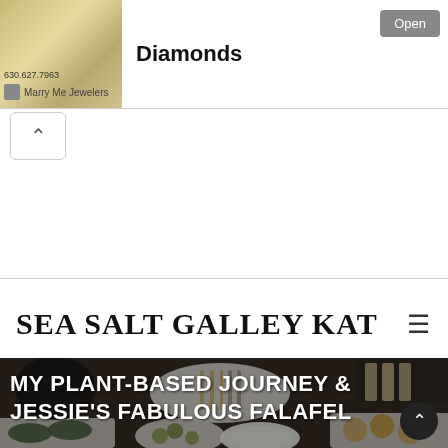[Figure (screenshot): Advertisement banner for Marry Me Jewelers showing jewelry image, phone number 630.627.7963, brand name, and 'Diamonds' text with an Open button]
Diamonds
Marry Me Jewelers
SEA SALT GALLEY KAT
[Figure (photo): Hero food photograph showing a spread of Mediterranean/plant-based dishes including dolmades, olives, tzatziki, falafel, flatbreads, and cutlery on a dark table. Overlaid text reads: MY PLANT-BASED JOURNEY & JESSIE'S FABULOUS FALAFEL]
MY PLANT-BASED JOURNEY & JESSIE'S FABULOUS FALAFEL